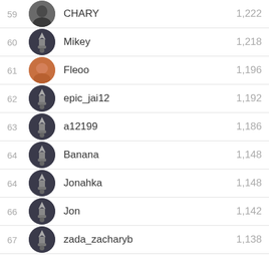59 CHARY 1,222
60 Mikey 1,218
61 Fleoo 1,196
62 epic_jai12 1,192
63 a12199 1,186
64 Banana 1,148
64 Jonahka 1,148
66 Jon 1,142
67 zada_zacharyb 1,138